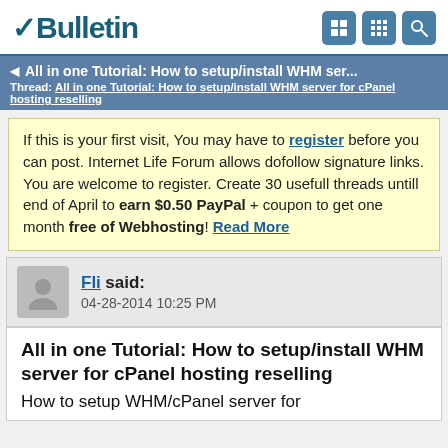vBulletin
All in one Tutorial: How to setup/install WHM ser...
Thread: All in one Tutorial: How to setup/install WHM server for cPanel hosting reselling
If this is your first visit, You may have to register before you can post. Internet Life Forum allows dofollow signature links. You are welcome to register. Create 30 usefull threads untill end of April to earn $0.50 PayPal + coupon to get one month free of Webhosting! Read More
Fli said: 04-28-2014 10:25 PM
All in one Tutorial: How to setup/install WHM server for cPanel hosting reselling
How to setup WHM/cPanel server for